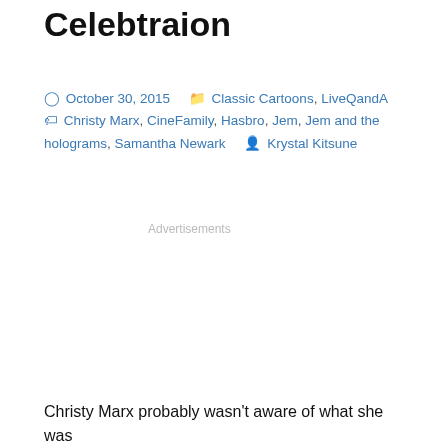Celebtraion
October 30, 2015   Classic Cartoons, LiveQandA   Christy Marx, CineFamily, Hasbro, Jem, Jem and the holograms, Samantha Newark   Krystal Kitsune
Advertisements
Christy Marx probably wasn't aware of what she was